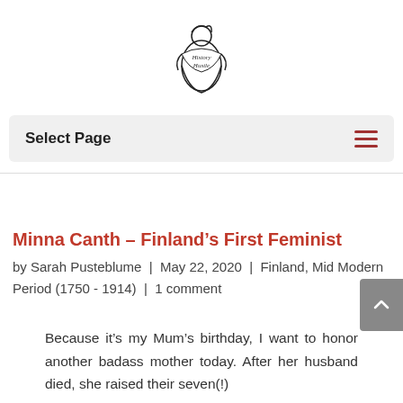[Figure (logo): History Hustle website logo — illustrated woman figure with text 'History Hustle' on a banner]
Select Page
Minna Canth – Finland's First Feminist
by Sarah Pusteblume | May 22, 2020 | Finland, Mid Modern Period (1750 - 1914) | 1 comment
Because it's my Mum's birthday, I want to honor another badass mother today. After her husband died, she raised their seven(!) children herself and...